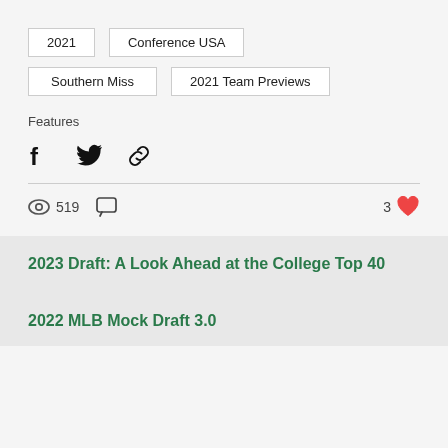2021
Conference USA
Southern Miss
2021 Team Previews
Features
[Figure (infographic): Social share icons: Facebook, Twitter, and link/copy icon]
519 views, comment icon, 3 likes
2023 Draft: A Look Ahead at the College Top 40
2022 MLB Mock Draft 3.0